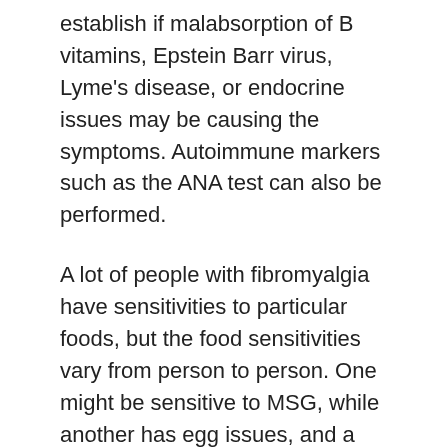establish if malabsorption of B vitamins, Epstein Barr virus, Lyme's disease, or endocrine issues may be causing the symptoms. Autoimmune markers such as the ANA test can also be performed.
A lot of people with fibromyalgia have sensitivities to particular foods, but the food sensitivities vary from person to person. One might be sensitive to MSG, while another has egg issues, and a third patient is sensitive to black pepper. In fact, in a survey published in the journal Clinical Rheumatology, 42% of fibromyalgia patients said their symptoms worsened after eating certain foods. If the symptoms of fibromyalgia include irritable bowel type symptoms in addition to inflammatory symptoms such as generalized body pain or